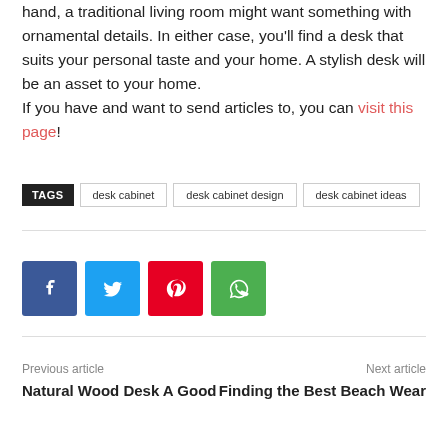hand, a traditional living room might want something with ornamental details. In either case, you'll find a desk that suits your personal taste and your home. A stylish desk will be an asset to your home.
If you have and want to send articles to, you can visit this page!
TAGS  desk cabinet  desk cabinet design  desk cabinet ideas
[Figure (infographic): Social share buttons: Facebook (blue), Twitter (light blue), Pinterest (red), WhatsApp (green)]
Previous article
Natural Wood Desk A Good
Next article
Finding the Best Beach Wear